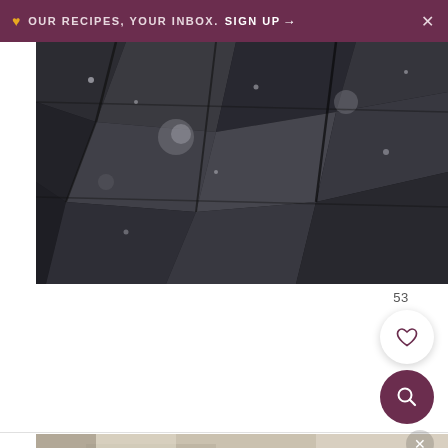❤ OUR RECIPES, YOUR INBOX. SIGN UP →  ×
[Figure (photo): Close-up photograph of dark, wet, rough rocky/stone surface with light reflecting off facets, high contrast black and gray tones]
53
[Figure (illustration): White circular heart/favorite button icon with heart outline in dark purple/maroon]
[Figure (illustration): Dark purple circular search button with white magnifying glass icon]
[Figure (photo): Partially visible photo strip at bottom showing a light-toned scene, partially cropped, with a close button (×) overlay in top right]